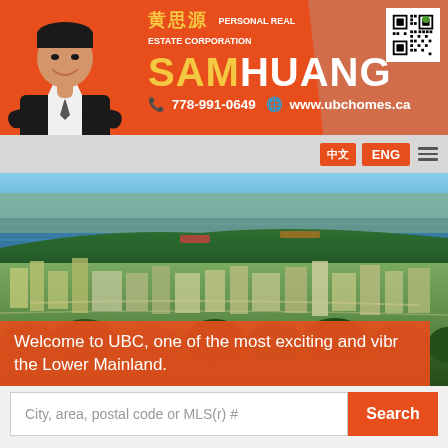[Figure (logo): Sam Huang Personal Real Estate Corporation banner with agent photo, Chinese name 黄思源, phone 778-991-0649, website www.ubchomes.ca, and QR code]
Welcome to UBC, one of the most exciting and vibrant communities in the Lower Mainland.
City, area, postal code or MLS(r) #
Search